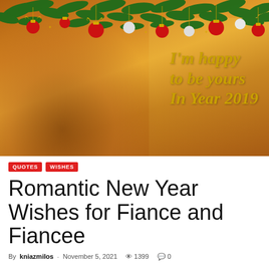[Figure (photo): Hero image with Christmas pine garland border at top with red and white ornaments and gold bows, couple smiling at beach with warm golden lighting, text overlay reading I'm happy to be yours In Year 2019 in gold italic font]
QUOTES  WISHES
Romantic New Year Wishes for Fiance and Fiancee
By kniazmilos - November 5, 2021  1399  0